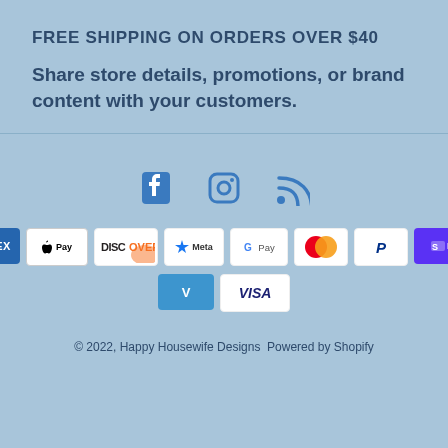FREE SHIPPING ON ORDERS OVER $40
Share store details, promotions, or brand content with your customers.
[Figure (infographic): Social media icons: Facebook, Instagram, RSS feed]
[Figure (infographic): Payment method logos: AMEX, Apple Pay, Discover, Meta Pay, Google Pay, Mastercard, PayPal, Shop Pay, Venmo, Visa]
© 2022, Happy Housewife Designs  Powered by Shopify